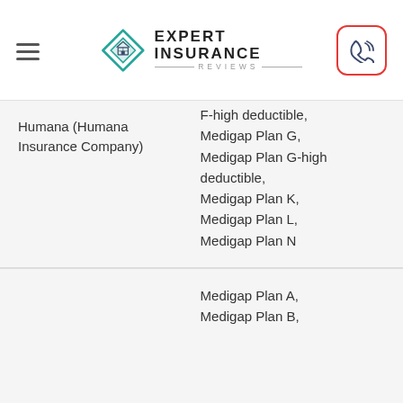Expert Insurance Reviews
| Company | Plans Available |
| --- | --- |
| Humana (Humana Insurance Company) | F-high deductible, Medigap Plan G, Medigap Plan G-high deductible, Medigap Plan K, Medigap Plan L, Medigap Plan N |
|  | Medigap Plan A, Medigap Plan B, |